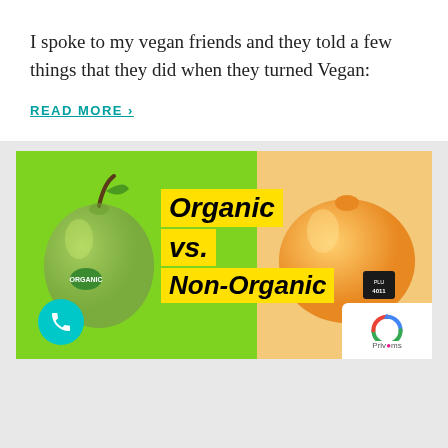I spoke to my vegan friends and they told a few things that they did when they turned Vegan:
READ MORE ›
[Figure (illustration): Promotional graphic with green and orange background split. On the left side (green background) is a green apple with an organic sticker. On the right side (orange/tan background) is an orange/citrus fruit with a price sticker. In the center is bold italic yellow text on black background reading 'Organic vs. Non-Organic'. Bottom left has a teal circular phone button icon. Bottom right has a Google reCAPTCHA privacy badge.]